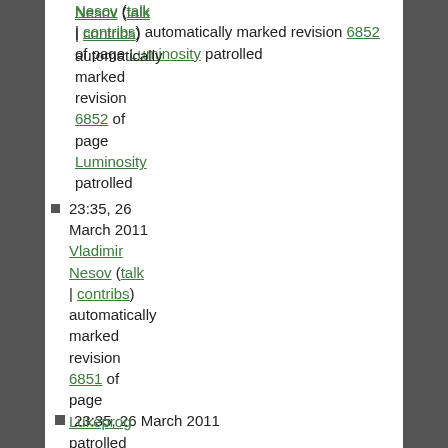Nesov (talk | contribs) automatically marked revision 6852 of page Luminosity patrolled
23:35, 26 March 2011 Vladimir Nesov (talk | contribs) automatically marked revision 6851 of page Lukeprog patrolled
23:34, 26 March 2011 Vladimir